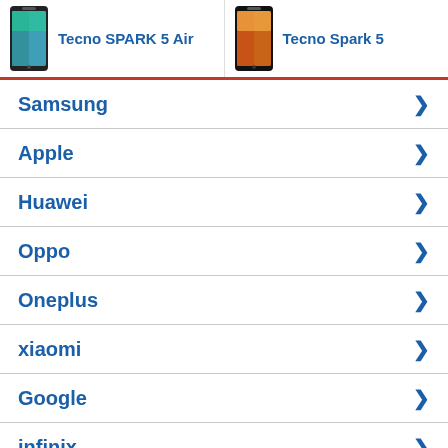[Figure (screenshot): Header with two phone product images: Tecno SPARK 5 Air on the left and Tecno Spark 5 on the right, each with a phone photo and bold blue text label.]
Samsung
Apple
Huawei
Oppo
Oneplus
xiaomi
Google
infinix
Realme
vivo